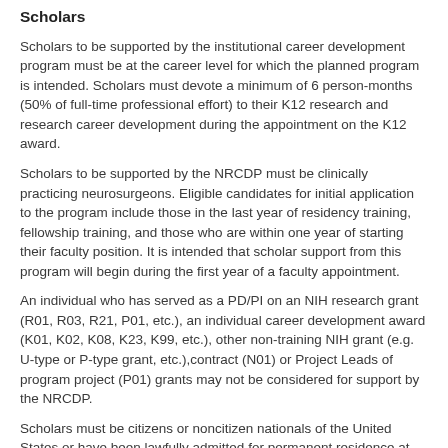Scholars
Scholars to be supported by the institutional career development program must be at the career level for which the planned program is intended. Scholars must devote a minimum of 6 person-months (50% of full-time professional effort) to their K12 research and research career development during the appointment on the K12 award.
Scholars to be supported by the NRCDP must be clinically practicing neurosurgeons. Eligible candidates for initial application to the program include those in the last year of residency training, fellowship training, and those who are within one year of starting their faculty position. It is intended that scholar support from this program will begin during the first year of a faculty appointment.
An individual who has served as a PD/PI on an NIH research grant (R01, R03, R21, P01, etc.), an individual career development award (K01, K02, K08, K23, K99, etc.), other non-training NIH grant (e.g. U-type or P-type grant, etc.),contract (N01) or Project Leads of program project (P01) grants may not be considered for support by the NRCDP.
Scholars must be citizens or noncitizen nationals of the United States or have been lawfully admitted for permanent residence at